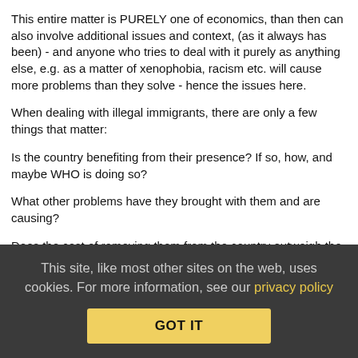This entire matter is PURELY one of economics, than then can also involve additional issues and context, (as it always has been) - and anyone who tries to deal with it purely as anything else, e.g. as a matter of xenophobia, racism etc. will cause more problems than they solve - hence the issues here.
When dealing with illegal immigrants, there are only a few things that matter:
Is the country benefiting from their presence? If so, how, and maybe WHO is doing so?
What other problems have they brought with them and are causing?
Does the cost of removing them from the country outweigh the benefits of them being here? THIS is the biggest issue. The problems factor on both sides, though - many individuals benefit from both sides - some from keeping them, some from removing them, irrespective of the overall country's benefit. Obviously it doesn't help matters if there is NO punishment (compared to legal immigrants) -
This site, like most other sites on the web, uses cookies. For more information, see our privacy policy
GOT IT